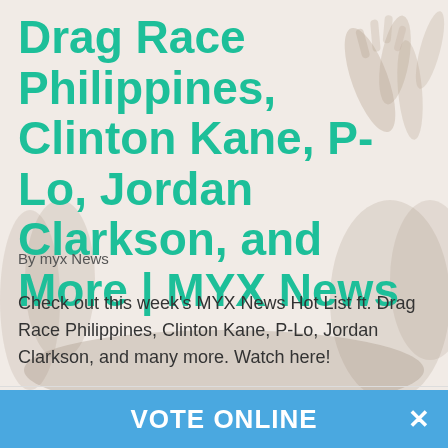Drag Race Philippines, Clinton Kane, P-Lo, Jordan Clarkson, and More | MYX News
By myx News
Check out this week's MYX News Hot List ft. Drag Race Philippines, Clinton Kane, P-Lo, Jordan Clarkson, and many more. Watch here!
Read More
VOTE ONLINE ✕